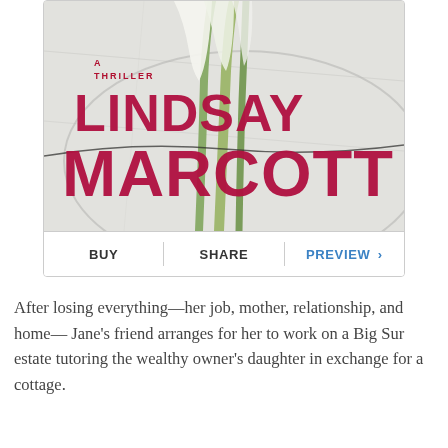[Figure (illustration): Book cover for a thriller novel by Lindsay Marcott, featuring calla lilies on a white background. Text reads 'A THRILLER' in small red letters, 'LINDSAY' in large crimson letters, and 'MARCOTT' in even larger crimson letters.]
BUY   SHARE   PREVIEW >
After losing everything—her job, mother, relationship, and home— Jane's friend arranges for her to work on a Big Sur estate tutoring the wealthy owner's daughter in exchange for a cottage.